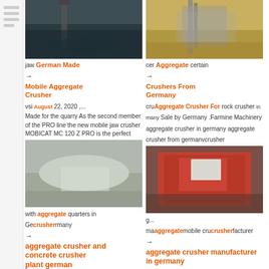[Figure (photo): Construction/quarry machinery photo, top left]
[Figure (photo): Industrial crusher plant photo, top right]
German Made Mobile Aggregate Crusher
jaw ... vsi ... August 22, 2020 ,... Made for the quarry As the second member of the PRO line the new mobile jaw crusher MOBICAT MC 120 Z PRO is the perfect
Aggregate Crushers From Germany
cer ... certain ... rock crusher ... in many Aggregate Crusher For Sale by Germany .Farmine Machinery aggregate crusher in germany aggregate crusher from germanvcrusher
[Figure (photo): Crushed aggregate/gravel material close-up]
[Figure (photo): Red industrial crusher machine]
aggregate crusher and concrete crusher plant german made ,
with ... headquarters in Germany ... crusher
aggregate crusher manufacturer in germany
ma ... mobile crusher ... manufacturer aggregate ... in germany aggregate crusher machinery Aggregate Crusher